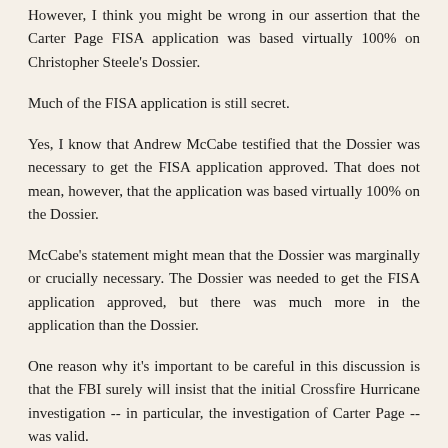However, I think you might be wrong in our assertion that the Carter Page FISA application was based virtually 100% on Christopher Steele's Dossier.
Much of the FISA application is still secret.
Yes, I know that Andrew McCabe testified that the Dossier was necessary to get the FISA application approved. That does not mean, however, that the application was based virtually 100% on the Dossier.
McCabe's statement might mean that the Dossier was marginally or crucially necessary. The Dossier was needed to get the FISA application approved, but there was much more in the application than the Dossier.
One reason why it's important to be careful in this discussion is that the FBI surely will insist that the initial Crossfire Hurricane investigation -- in particular, the investigation of Carter Page -- was valid.
I myself do not think that the initial investigation was sufficiently predicated, but I acknowledge that that argument is reasonable.